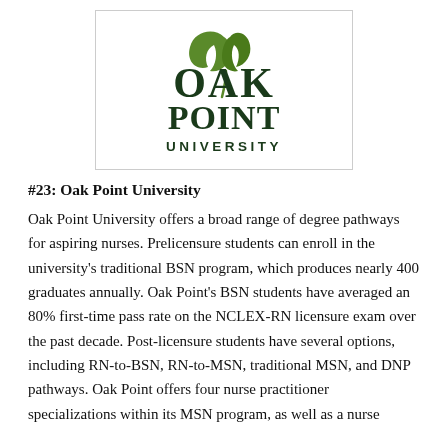[Figure (logo): Oak Point University logo with green oak leaf and dark green text reading OAK POINT UNIVERSITY]
#23: Oak Point University
Oak Point University offers a broad range of degree pathways for aspiring nurses. Prelicensure students can enroll in the university's traditional BSN program, which produces nearly 400 graduates annually. Oak Point's BSN students have averaged an 80% first-time pass rate on the NCLEX-RN licensure exam over the past decade. Post-licensure students have several options, including RN-to-BSN, RN-to-MSN, traditional MSN, and DNP pathways. Oak Point offers four nurse practitioner specializations within its MSN program, as well as a nurse